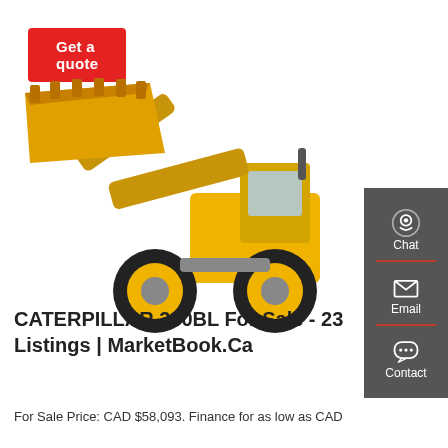Get a quote
[Figure (photo): Yellow wheel loader / front loader construction machine (Caterpillar 330BL) with raised bucket, shown on white background]
[Figure (infographic): Dark grey side panel with three contact options: Chat (headset icon), Email (envelope icon), Contact (speech bubble icon), each separated by a red divider line]
CATERPILLAR 330BL For Sale - 23 Listings | MarketBook.Ca
For Sale Price: CAD $58,093. Finance for as low as CAD